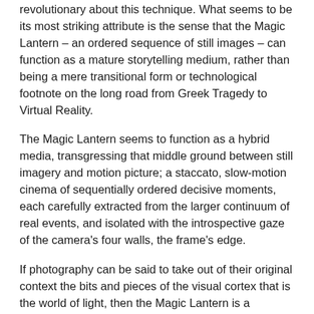revolutionary about this technique. What seems to be its most striking attribute is the sense that the Magic Lantern – an ordered sequence of still images – can function as a mature storytelling medium, rather than being a mere transitional form or technological footnote on the long road from Greek Tragedy to Virtual Reality.
The Magic Lantern seems to function as a hybrid media, transgressing that middle ground between still imagery and motion picture; a staccato, slow-motion cinema of sequentially ordered decisive moments, each carefully extracted from the larger continuum of real events, and isolated with the introspective gaze of the camera's four walls, the frame's edge.
If photography can be said to take out of their original context the bits and pieces of the visual cortex that is the world of light, then the Magic Lantern is a restructuring of those elements, an amalgamation whose purpose is the creation of a wholly new and original context; a transformation.
The power of still imagery lies in its fundamental quality to